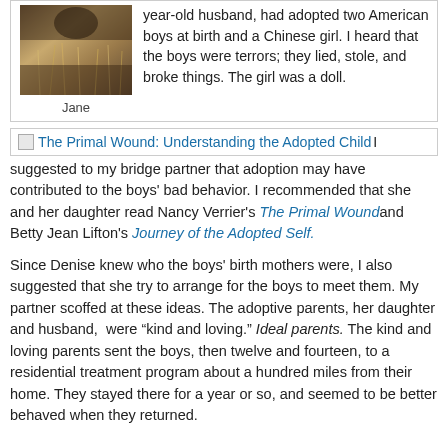[Figure (photo): Photo of a person (Jane) partially visible above wheat/grass field, warm brown tones]
Jane
year-old husband, had adopted two American boys at birth and a Chinese girl. I heard that the boys were terrors; they lied, stole, and broke things. The girl was a doll.
[Figure (other): Book cover image thumbnail for The Primal Wound: Understanding the Adopted Child]
suggested to my bridge partner that adoption may have contributed to the boys' bad behavior. I recommended that she and her daughter read Nancy Verrier's The Primal Wound and Betty Jean Lifton's Journey of the Adopted Self.
Since Denise knew who the boys' birth mothers were, I also suggested that she try to arrange for the boys to meet them. My partner scoffed at these ideas. The adoptive parents, her daughter and husband, were “kind and loving.” Ideal parents. The kind and loving parents sent the boys, then twelve and fourteen, to a residential treatment program about a hundred miles from their home. They stayed there for a year or so, and seemed to be better behaved when they returned.